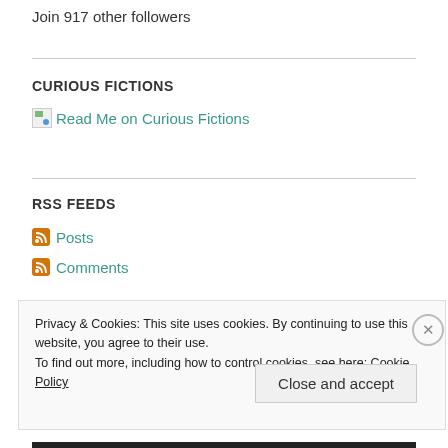Join 917 other followers
CURIOUS FICTIONS
[Figure (other): Broken image icon with link: Read Me on Curious Fictions]
RSS FEEDS
Posts
Comments
Privacy & Cookies: This site uses cookies. By continuing to use this website, you agree to their use. To find out more, including how to control cookies, see here: Cookie Policy
Close and accept